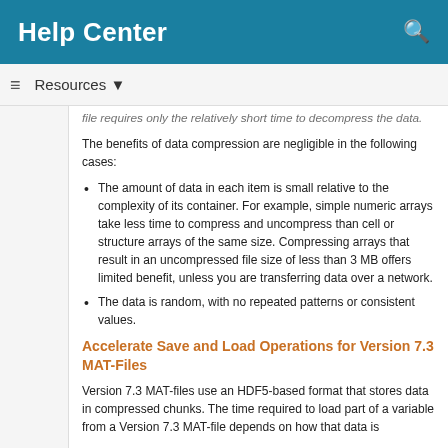Help Center
Resources ▼
file requires only the relatively short time to decompress the data.
The benefits of data compression are negligible in the following cases:
The amount of data in each item is small relative to the complexity of its container. For example, simple numeric arrays take less time to compress and uncompress than cell or structure arrays of the same size. Compressing arrays that result in an uncompressed file size of less than 3 MB offers limited benefit, unless you are transferring data over a network.
The data is random, with no repeated patterns or consistent values.
Accelerate Save and Load Operations for Version 7.3 MAT-Files
Version 7.3 MAT-files use an HDF5-based format that stores data in compressed chunks. The time required to load part of a variable from a Version 7.3 MAT-file depends on how that data is